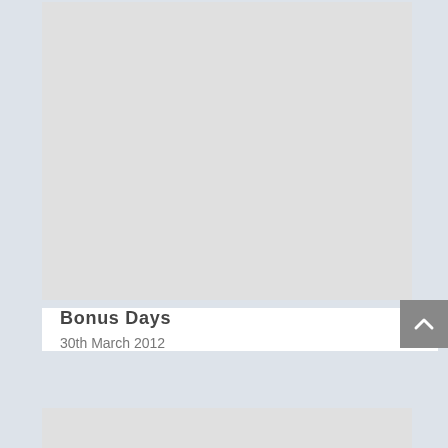[Figure (other): Large light gray placeholder image block at the top of the card]
Bonus Days
30th March 2012
[Figure (other): Light gray placeholder image block at the bottom of the card, partially visible]